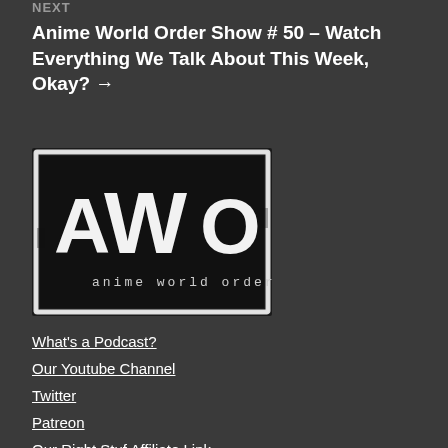NEXT
Anime World Order Show # 50 – Watch Everything We Talk About This Week, Okay? →
[Figure (logo): AWO anime world order logo — black and white distressed stamp-style logo with large letters 'AWO' and text 'anime world order' below]
What's a Podcast?
Our Youtube Channel
Twitter
Patreon
Our Right Stuf Affiliate Link
Steam Curation